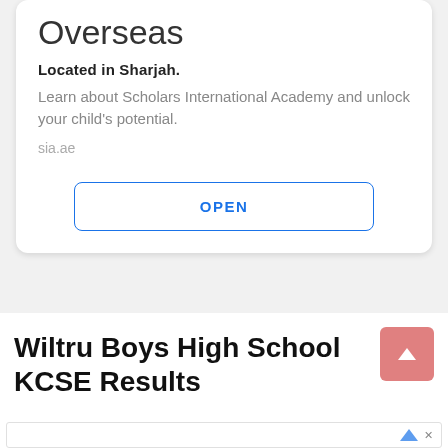Overseas
Located in Sharjah.
Learn about Scholars International Academy and unlock your child's potential.
sia.ae
OPEN
Wiltru Boys High School KCSE Results